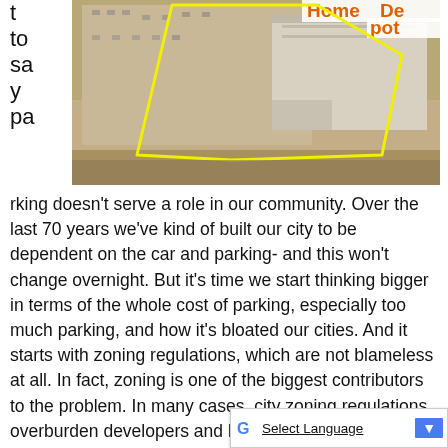to say pa
[Figure (photo): Aerial satellite view of a Home Depot store with large parking lot outlined by a yellow polygon boundary line]
rking doesn't serve a role in our community. Over the last 70 years we've kind of built our city to be dependent on the car and parking- and this won't change overnight. But it's time we start thinking bigger in terms of the whole cost of parking, especially too much parking, and how it's bloated our cities. And it starts with zoning regulations, which are not blameless at all. In fact, zoning is one of the biggest contributors to the problem. In many cases, city zoning regulations overburden developers and business owners by requiring them to supply parking spaces that may never be used.
By lowering minimum parking requirements, we can begin to combat the
[Figure (screenshot): Google Translate Select Language button bar at the bottom right corner]